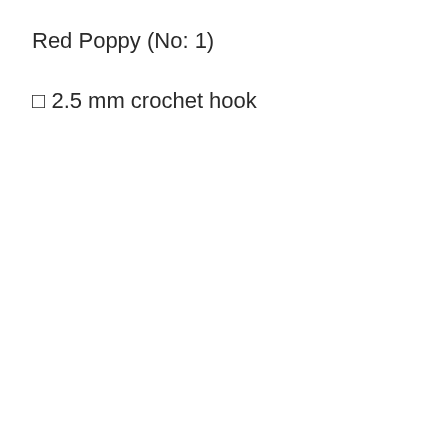Red Poppy (No: 1)
□ 2.5 mm crochet hook